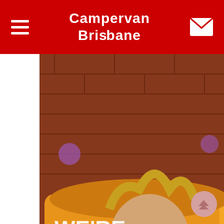Campervan Brisbane
[Figure (photo): Colorful graffiti-wrapped campervan parked in front of a brick wall. The van has a cartoon character with wild hair. Text on the van reads WE'RE HERE YOUR and Daughti (partial). Overlay text: Campervan Hire. Read more →]
POPULAR CATEGORIES
Our Vehicles ( 16 )
Lifestyle ( 6 )
Travel ( 6 )